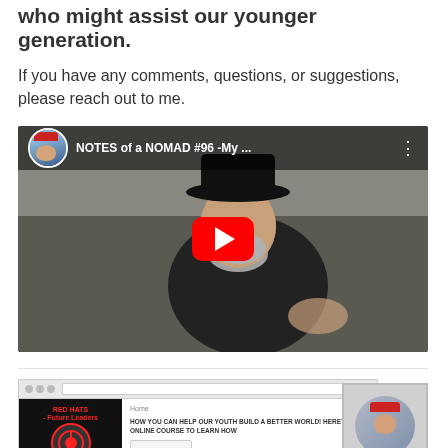who might assist our younger generation.
If you have any comments, questions, or suggestions, please reach out to me.
[Figure (screenshot): Embedded YouTube video thumbnail showing a man wearing a black bowler hat, with YouTube play button overlay. Video title shown in top bar: 'NOTES of a NOMAD #96 -My ...']
[Figure (screenshot): Screenshot of a webpage showing 'RED HATS - Future Leaders' website with a logo and text 'HOW YOU CAN HELP OUR YOUTH BUILD A BETTER WORLD! HERE'S AN ONLINE COURSE TO LEARN HOW']